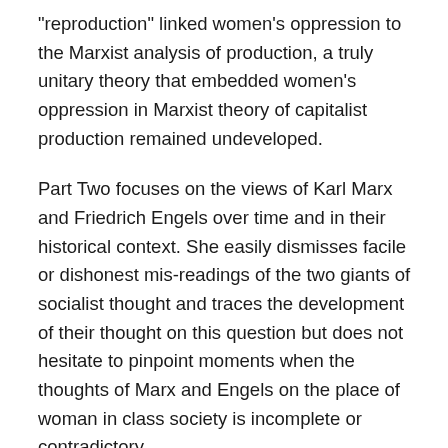“reproduction” linked women’s oppression to the Marxist analysis of production, a truly unitary theory that embedded women’s oppression in Marxist theory of capitalist production remained undeveloped.
Part Two focuses on the views of Karl Marx and Friedrich Engels over time and in their historical context. She easily dismisses facile or dishonest mis-readings of the two giants of socialist thought and traces the development of their thought on this question but does not hesitate to pinpoint moments when the thoughts of Marx and Engels on the place of woman in class society is incomplete or contradictory.
Vogel reviews the theoretical importance of both Marx’s “Capital” and Engels’ “Origin of the Family